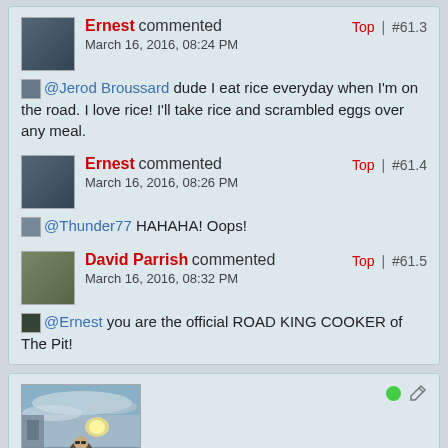Ernest commented  Top | #61.3  March 16, 2016, 08:24 PM
@Jerod Broussard dude I eat rice everyday when I'm on the road. I love rice! I'll take rice and scrambled eggs over any meal.
Ernest commented  Top | #61.4  March 16, 2016, 08:26 PM
@Thunder77 HAHAHA! Oops!
David Parrish commented  Top | #61.5  March 16, 2016, 08:32 PM
@Ernest you are the official ROAD KING COOKER of The Pit!
[Figure (photo): Profile photo of a man with sunglasses on a beach/waterfront with cloudy sky]